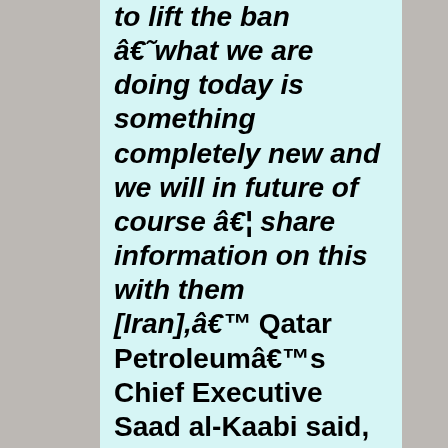to lift the ban â€˜what we are doing today is something completely new and we will in future of course â€¦ share information on this with them [Iran],â€™ Qatar Petroleumâ€™s Chief Executive Saad al-Kaabi said, as reported by Haaretz. Qatar has no current plans to go to war with Iran, unlike the rest of the Arab Gulf states. Not long after Donald Trump sword-danced his way through the Middle East, raving incessantly about the so-called Iranian